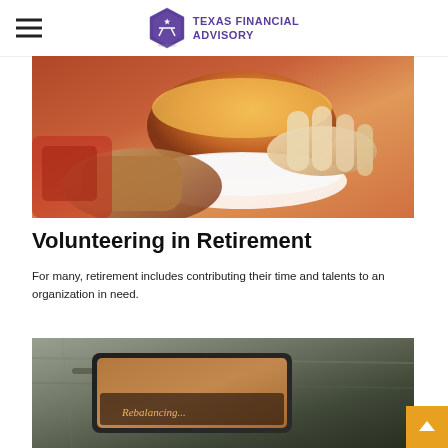Texas Financial Advisory
[Figure (photo): Close-up photo of hands passing a white bowl of soup or food, suggesting volunteering/community service activity]
Volunteering in Retirement
For many, retirement includes contributing their time and talents to an organization in need.
[Figure (photo): Photo of a tablet/smartphone showing text that reads 'Rebalancing...' placed on a bag or backpack]